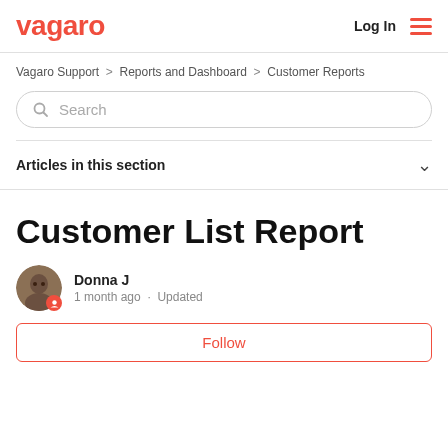vagaro | Log In
Vagaro Support > Reports and Dashboard > Customer Reports
Search
Articles in this section
Customer List Report
Donna J
1 month ago · Updated
Follow